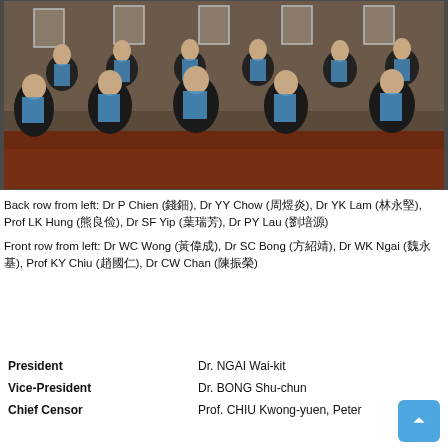[Figure (photo): Group photo of medical/academic professionals in black graduation gowns with blue sashes, seated and standing around a conference table, with framed portraits on the wall behind them.]
Back row from left: Dr P Chien (錢鈿), Dr YY Chow (周煜炎), Dr YK Lam (林永堅), Prof LK Hung (熊良俭), Dr SF Yip (葉瑞芳), Dr PY Lau (劉培源)
Front row from left: Dr WC Wong (黃偉成), Dr SC Bong (方紹靖), Dr WK Ngai (魏永基), Prof KY Chiu (趙國仁), Dr CW Chan (陳振榮)
| Role | Name |
| --- | --- |
| President | Dr. NGAI Wai-kit |
| Vice-President | Dr. BONG Shu-chun |
| Chief Censor | Prof. CHIU Kwong-yuen, Peter |